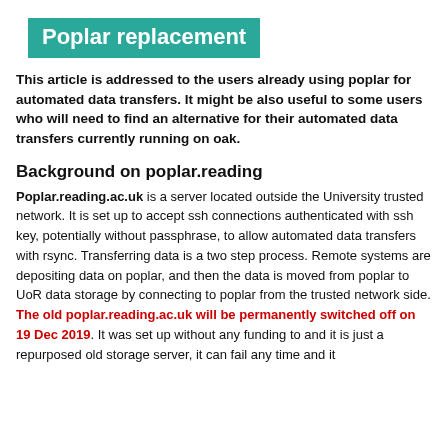Poplar replacement
This article is addressed to the users already using poplar for automated data transfers. It might be also useful to some users who will need to find an alternative for their automated data transfers currently running on oak.
Background on poplar.reading
Poplar.reading.ac.uk is a server located outside the University trusted network. It is set up to accept ssh connections authenticated with ssh key, potentially without passphrase, to allow automated data transfers with rsync. Transferring data is a two step process. Remote systems are depositing data on poplar, and then the data is moved from poplar to UoR data storage by connecting to poplar from the trusted network side. The old poplar.reading.ac.uk will be permanently switched off on 19 Dec 2019. It was set up without any funding to and it is just a repurposed old storage server, it can fail any time and it